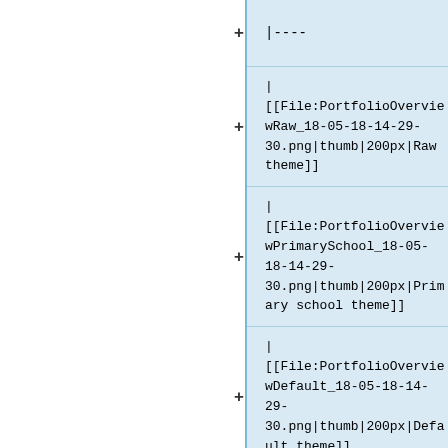|----
|
[[File:PortfolioOverviewRaw_18-05-18-14-29-30.png|thumb|200px|Raw theme]]
|
[[File:PortfolioOverviewPrimarySchool_18-05-18-14-29-30.png|thumb|200px|Primary school theme]]
|
[[File:PortfolioOverviewDefault_18-05-18-14-29-30.png|thumb|200px|Default theme]]
|
[[File:PortfolioOvervie